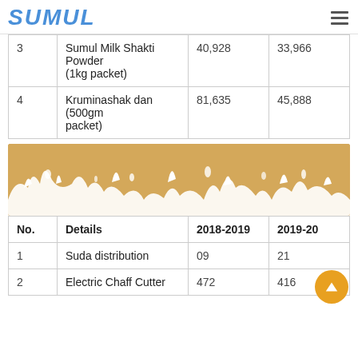SUMUL
|  |  | 2018-2019 | 2019-20 |
| --- | --- | --- | --- |
| 3 | Sumul Milk Shakti Powder (1kg packet) | 40,928 | 33,966 |
| 4 | Kruminashak dan (500gm packet) | 81,635 | 45,888 |
[Figure (illustration): Golden/tan colored milk splash decorative banner image with white milk splashes on golden background]
| No. | Details | 2018-2019 | 2019-20 |
| --- | --- | --- | --- |
| 1 | Suda distribution | 09 | 21 |
| 2 | Electric Chaff Cutter | 472 | 416 |